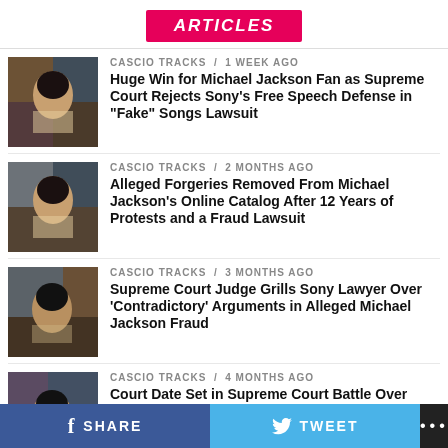ARTICLES
CASCIO TRACKS / 1 week ago — Huge Win for Michael Jackson Fan as Supreme Court Rejects Sony’s Free Speech Defense in “Fake” Songs Lawsuit
CASCIO TRACKS / 2 months ago — Alleged Forgeries Removed From Michael Jackson’s Online Catalog After 12 Years of Protests and a Fraud Lawsuit
CASCIO TRACKS / 3 months ago — Supreme Court Judge Grills Sony Lawyer Over ‘Contradictory’ Arguments in Alleged Michael Jackson Fraud
CASCIO TRACKS / 4 months ago — Court Date Set in Supreme Court Battle Over Legal Right to Sell Alleged Michael Jackson Forgeries
SHARE   TWEET   ...